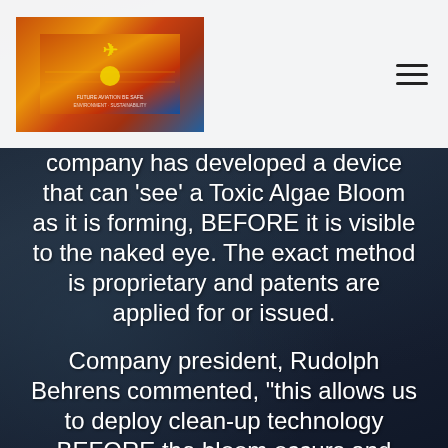[Figure (logo): Company logo with wings/eagle emblem and sunset/gradient background]
company has developed a device that can ‘see’ a Toxic Algae Bloom as it is forming, BEFORE it is visible to the naked eye. The exact method is proprietary and patents are applied for or issued.
Company president, Rudolph Behrens commented, “this allows us to deploy clean-up technology BEFORE the bloom occurs and PREVENT it from ever happening. This saves